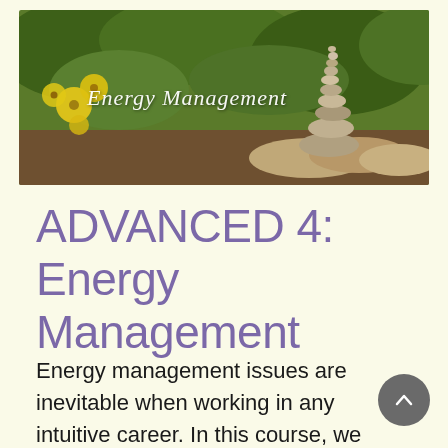[Figure (photo): Banner photo showing yellow wildflowers on the left and a stacked rock cairn on the right, set against green foliage background. Text 'Energy Management' overlaid in white italic script.]
ADVANCED 4:  Energy Management
Energy management issues are inevitable when working in any intuitive career. In this course, we will